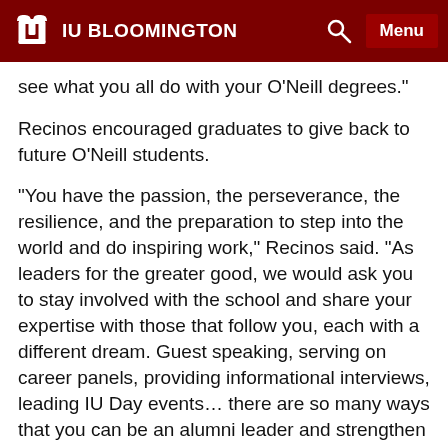IU BLOOMINGTON
see what you all do with your O'Neill degrees."
Recinos encouraged graduates to give back to future O'Neill students.
“You have the passion, the perseverance, the resilience, and the preparation to step into the world and do inspiring work,” Recinos said. “As leaders for the greater good, we would ask you to stay involved with the school and share your expertise with those that follow you, each with a different dream. Guest speaking, serving on career panels, providing informational interviews, leading IU Day events… there are so many ways that you can be an alumni leader and strengthen our IU impact.”
O’Neill’s Executive Associate Dean Brad Heim closed the graduate ceremony with one last request of the